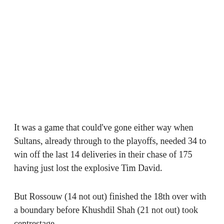It was a game that could've gone either way when Sultans, already through to the playoffs, needed 34 to win off the last 14 deliveries in their chase of 175 having just lost the explosive Tim David.
But Rossouw (14 not out) finished the 18th over with a boundary before Khushdil Shah (21 not out) took centrestage.